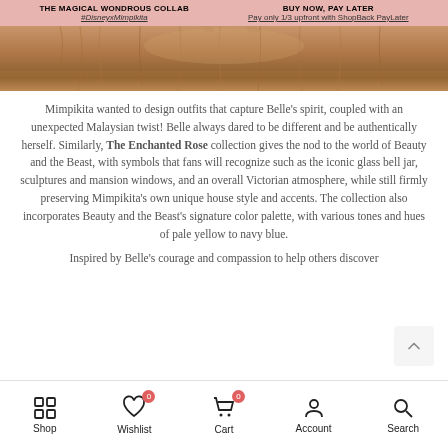THE MAGICAL WONDROUS COLLAB #DisneyxMimpikita | BUY NOW, PAY LATER Pay only 1/3 upfront with ShopBack PayLater
[Figure (photo): Close-up photo of a warm-toned furry or textured surface, likely a costume or fabric detail in golden-brown tones]
Mimpikita wanted to design outfits that capture Belle's spirit, coupled with an unexpected Malaysian twist! Belle always dared to be different and be authentically herself. Similarly, The Enchanted Rose collection gives the nod to the world of Beauty and the Beast, with symbols that fans will recognize such as the iconic glass bell jar, sculptures and mansion windows, and an overall Victorian atmosphere, while still firmly preserving Mimpikita's own unique house style and accents. The collection also incorporates Beauty and the Beast's signature color palette, with various tones and hues of pale yellow to navy blue.
Inspired by Belle's courage and compassion to help others discover
Shop | Wishlist 0 | Cart 0 | Account | Search